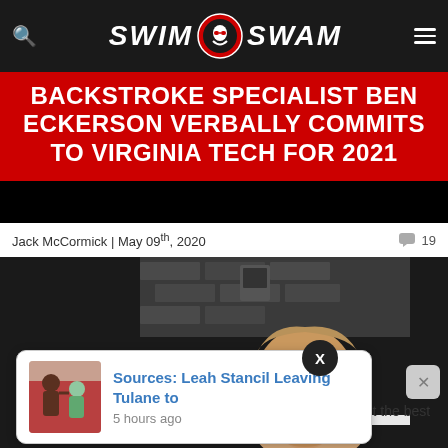SwimSwam
BACKSTROKE SPECIALIST BEN ECKERSON VERBALLY COMMITS TO VIRGINIA TECH FOR 2021
Jack McCormick | May 09th, 2020  💬 19
[Figure (photo): Photo of a young male swimmer smiling, peering up over the edge of a swimming pool, with a dark background.]
Sources: Leah Stancil Leaving Tulane to  5 hours ago  get the best